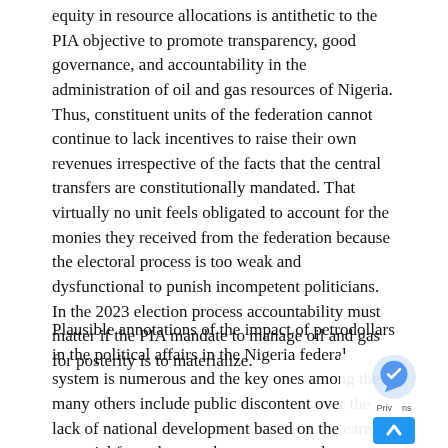equity in resource allocations is antithetic to the PIA objective to promote transparency, good governance, and accountability in the administration of oil and gas resources of Nigeria. Thus, constituent units of the federation cannot continue to lack incentives to raise their own revenues irrespective of the facts that the central transfers are constitutionally mandated. That virtually no unit feels obligated to account for the monies they received from the federation because the electoral process is too weak and dysfunctional to punish incompetent politicians. In the 2023 election process accountability must matter if the PIA mandate to manage oil and gas for posterity is to materialize.
Plausible annotations of the impact of petrodollars in the political affairs in the Nigeria federal system is numerous and the key ones among the many others include public discontent over the lack of national development based on the earning potential from the petroleum sector; and power struggle among competing elites to control revenue sometimes leading to instability of government;